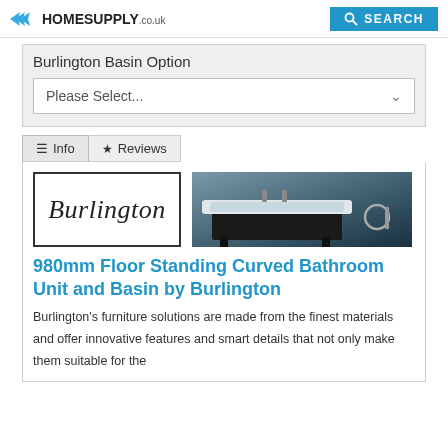HomeSupply.co.uk | SEARCH
Burlington Basin Option
Please Select...
Info  Reviews
[Figure (logo): Burlington cursive brand logo in a rectangular border, alongside a photo of a bathroom vanity unit with basin]
980mm Floor Standing Curved Bathroom Unit and Basin by Burlington
Burlington's furniture solutions are made from the finest materials and offer innovative features and smart details that not only make them suitable for the